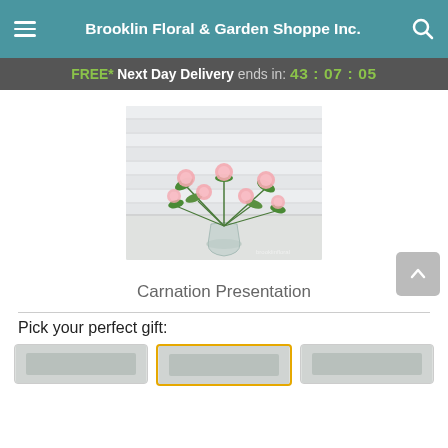Brooklin Floral & Garden Shoppe Inc.
FREE* Next Day Delivery ends in: 43 : 07 : 05
[Figure (photo): A glass vase arranged with pink carnations and green foliage against a white brick wall background]
Carnation Presentation
Pick your perfect gift:
[Figure (photo): Three small gift option thumbnail images at the bottom, middle one selected with orange border]